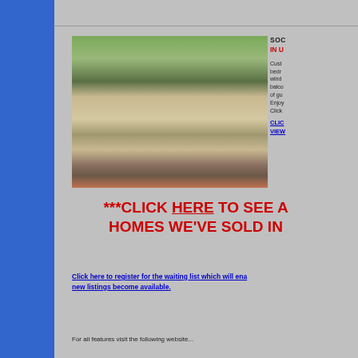[Figure (photo): Photo of townhomes/row houses with trees and a red car parked in front, brick steps visible]
SOC IN U Custom bedr wind balco of gu Enjoy Click CLIC VIEW
***CLICK HERE TO SEE A HOMES WE'VE SOLD IN
Click here to register for the waiting list which will enable new listings become available.
For all features visit the following website...